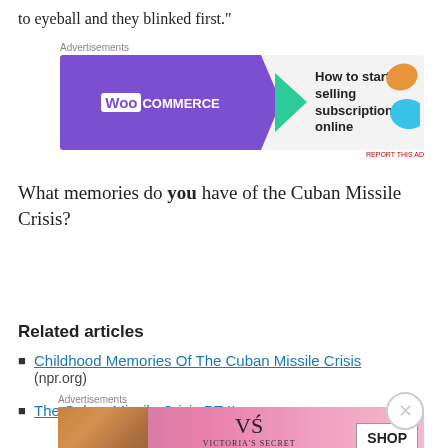to eyeball and they blinked first."
[Figure (screenshot): WooCommerce advertisement banner: 'How to start selling subscriptions online']
What memories do you have of the Cuban Missile Crisis?
Sally Edelstein Collage
Related articles
Childhood Memories Of The Cuban Missile Crisis (npr.org)
The Cuban Missile Crisis PT II
[Figure (screenshot): Victoria's Secret advertisement: 'Shop The Collection' with Shop Now button]